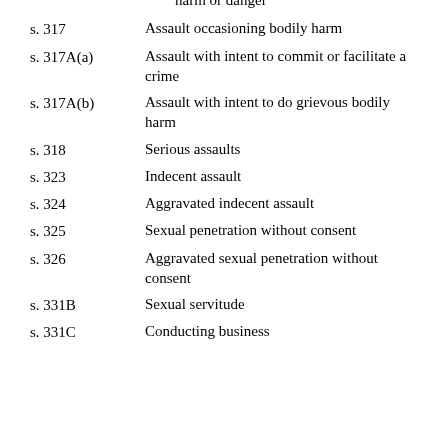harm or danger
s. 317 — Assault occasioning bodily harm
s. 317A(a) — Assault with intent to commit or facilitate a crime
s. 317A(b) — Assault with intent to do grievous bodily harm
s. 318 — Serious assaults
s. 323 — Indecent assault
s. 324 — Aggravated indecent assault
s. 325 — Sexual penetration without consent
s. 326 — Aggravated sexual penetration without consent
s. 331B — Sexual servitude
s. 331C — Conducting business